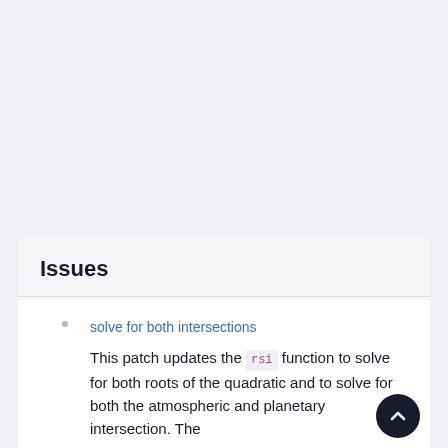Issues
solve for both intersections
This patch updates the rsi function to solve for both roots of the quadratic and to solve for both the atmospheric and planetary intersection. The